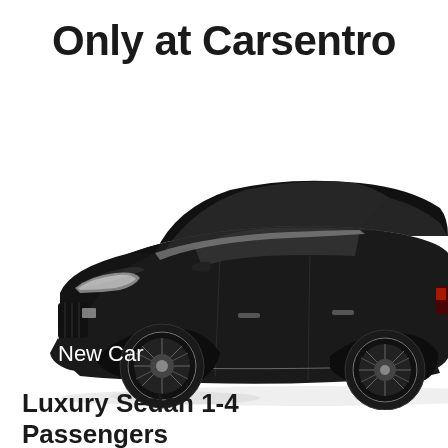Only at Carsentro
[Figure (photo): Black luxury sedan (Cadillac XTS or similar) photographed from a front-three-quarter angle on a white background. The car is dark black with chrome trim, spoke wheels, and tinted windows. A white text overlay reads 'New Car' in the lower-left area of the image.]
Luxury Sedan 1-4
Passengers